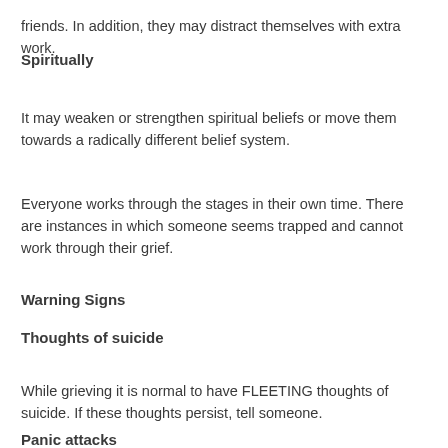friends. In addition, they may distract themselves with extra work.
Spiritually
It may weaken or strengthen spiritual beliefs or move them towards a radically different belief system.
Everyone works through the stages in their own time. There are instances in which someone seems trapped and cannot work through their grief.
Warning Signs
Thoughts of suicide
While grieving it is normal to have FLEETING thoughts of suicide. If these thoughts persist, tell someone.
Panic attacks